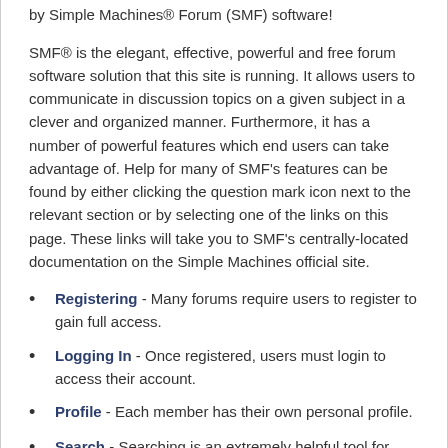by Simple Machines® Forum (SMF) software!
SMF® is the elegant, effective, powerful and free forum software solution that this site is running. It allows users to communicate in discussion topics on a given subject in a clever and organized manner. Furthermore, it has a number of powerful features which end users can take advantage of. Help for many of SMF's features can be found by either clicking the question mark icon next to the relevant section or by selecting one of the links on this page. These links will take you to SMF's centrally-located documentation on the Simple Machines official site.
Registering - Many forums require users to register to gain full access.
Logging In - Once registered, users must login to access their account.
Profile - Each member has their own personal profile.
Search - Searching is an extremely helpful tool for finding information in posts and topics.
Posting - The whole point of a forum, posting allows users to express themselves.